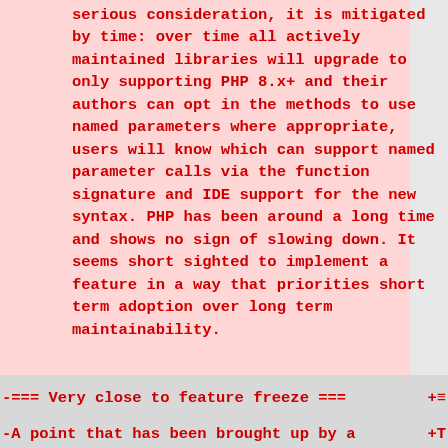serious consideration, it is mitigated by time: over time all actively maintained libraries will upgrade to only supporting PHP 8.x+ and their authors can opt in the methods to use named parameters where appropriate, users will know which can support named parameter calls via the function signature and IDE support for the new syntax. PHP has been around a long time and shows no sign of slowing down. It seems short sighted to implement a feature in a way that priorities short term adoption over long term maintainability.
-=== Very close to feature freeze ===         +=
-A point that has been brought up by a     +T